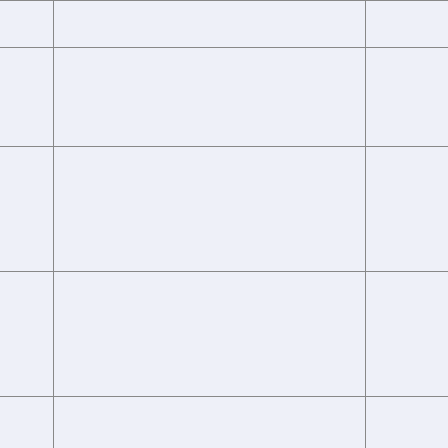| Player / Partner |  |  |
| --- | --- | --- |
| Heinonen |  |  |
| Heikki Westerlund
Veijo Vainio |  |  |
| Gennadiy Denisov
Vladislav Strebkov |  |  |
| Arief Indiarto
Firman Barototomo |  |  |
| Hutomo Mandala Putra 'Tommy'
Jeffrey Jarang Pulang |  |  |
| Mario Stagni
Enrico Brazzoli |  |  |
| Fabrizio Gallio
Daniele De Luis |  |  |